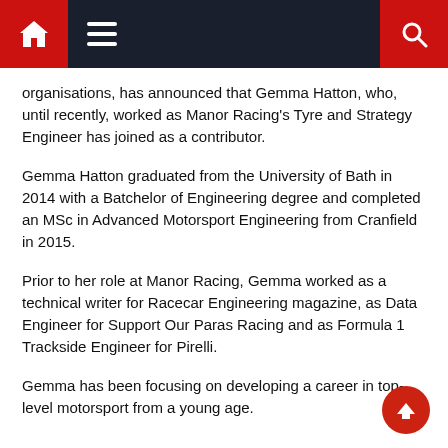Navigation bar with home, menu, and search icons
organisations, has announced that Gemma Hatton, who, until recently, worked as Manor Racing's Tyre and Strategy Engineer has joined as a contributor.
Gemma Hatton graduated from the University of Bath in 2014 with a Batchelor of Engineering degree and completed an MSc in Advanced Motorsport Engineering from Cranfield in 2015.
Prior to her role at Manor Racing, Gemma worked as a technical writer for Racecar Engineering magazine, as Data Engineer for Support Our Paras Racing and as Formula 1 Trackside Engineer for Pirelli.
Gemma has been focusing on developing a career in top-level motorsport from a young age.